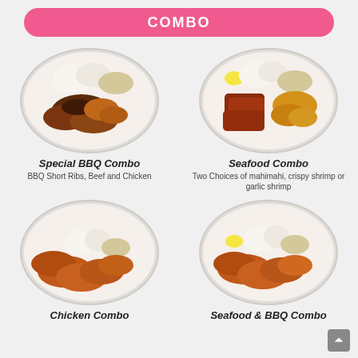COMBO
[Figure (photo): Plate of Special BBQ Combo with BBQ short ribs, beef, chicken, rice and macaroni salad]
Special BBQ Combo
BBQ Short Ribs, Beef and Chicken
[Figure (photo): Plate of Seafood Combo with mahimahi, crispy shrimp or garlic shrimp, rice and mac salad with lemon]
Seafood Combo
Two Choices of mahimahi, crispy shrimp or garlic shrimp
[Figure (photo): Plate of Chicken Combo with fried chicken, rice and macaroni salad]
Chicken Combo
[Figure (photo): Plate of Seafood & BBQ Combo with seafood and BBQ chicken, rice and mac salad with lemon slice]
Seafood & BBQ Combo